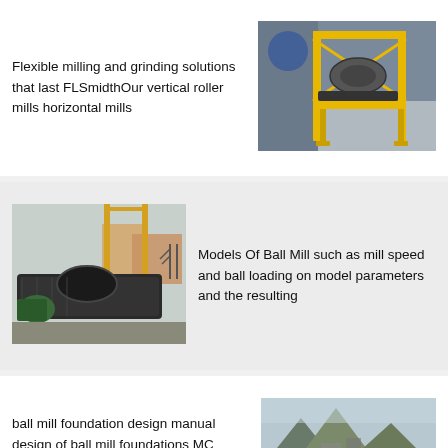Flexible milling and grinding solutions that last FLSmidthOur vertical roller mills horizontal mills
[Figure (photo): Industrial yellow-framed milling/grinding machine on a factory floor]
[Figure (photo): Large black industrial ball mill machine outdoors with yellow crane structures in background]
Models Of Ball Mill such as mill speed and ball loading on model parameters and the resulting
ball mill foundation design manual design of ball mill foundations MC
[Figure (photo): Mountainous landscape with industrial site in background]